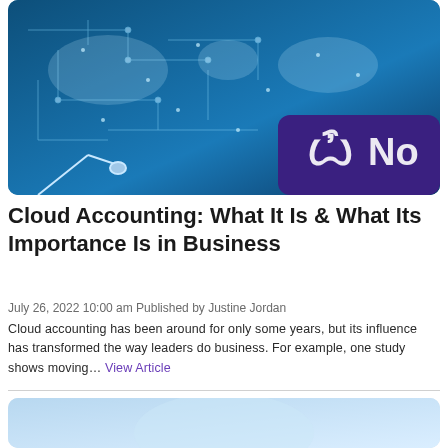[Figure (photo): Circuit board with glowing blue digital world map overlay and a purple card with a stylized logo and text 'No...' (partially visible)]
Cloud Accounting: What It Is & What Its Importance Is in Business
July 26, 2022 10:00 am Published by Justine Jordan
Cloud accounting has been around for only some years, but its influence has transformed the way leaders do business. For example, one study shows moving… View Article
[Figure (photo): Partial view of a second article hero image with light blue background]